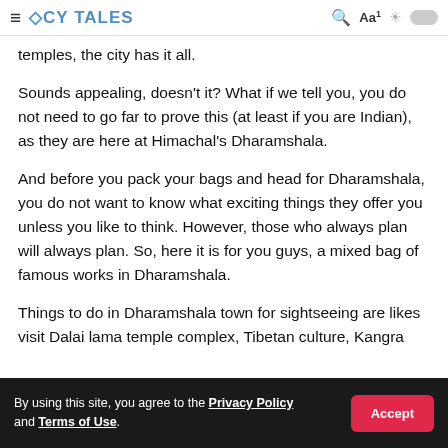≡ ACY TALES  🔍  Aa1  ☀ [toggle]
temples, the city has it all.
Sounds appealing, doesn't it? What if we tell you, you do not need to go far to prove this (at least if you are Indian), as they are here at Himachal's Dharamshala.
And before you pack your bags and head for Dharamshala, you do not want to know what exciting things they offer you unless you like to think. However, those who always plan will always plan. So, here it is for you guys, a mixed bag of famous works in Dharamshala.
Things to do in Dharamshala town for sightseeing are likes visit Dalai lama temple complex, Tibetan culture, Kangra
By using this site, you agree to the Privacy Policy and Terms of Use.